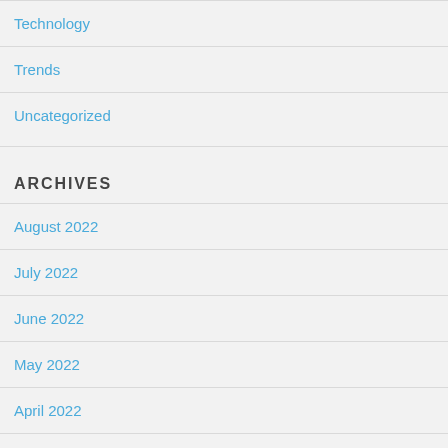Technology
Trends
Uncategorized
Archives
August 2022
July 2022
June 2022
May 2022
April 2022
March 2022